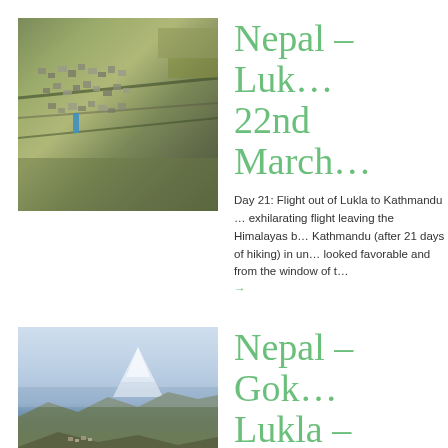[Figure (photo): Aerial photograph of Lukla town showing dense cluster of buildings on hillside terrain with terraced fields]
Nepal – Luk… 22nd March…
Day 21: Flight out of Lukla to Kathmandu … exhilarating flight leaving the Himalayas b… Kathmandu (after 21 days of hiking) in un… looked favorable and from the window of t… →
[Figure (photo): Mountain valley photograph showing Himalayan peaks with haze, rocky ridgeline in foreground and small settlement visible]
Nepal – Gok… Lukla – 19th…
Day 18: Gokyo to Mong We were up early…